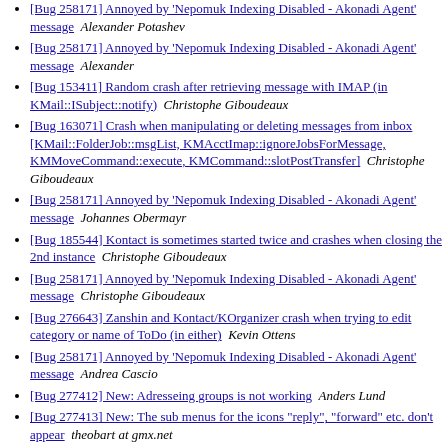[Bug 258171] Annoyed by 'Nepomuk Indexing Disabled - Akonadi Agent' message  Alexander
[Bug 153411] Random crash after retrieving message with IMAP (in KMail::ISubject::notify)  Christophe Giboudeaux
[Bug 163071] Crash when manipulating or deleting messages from inbox [KMail::FolderJob::msgList, KMAcctImap::ignoreJobsForMessage, KMMoveCommand::execute, KMCommand::slotPostTransfer]  Christophe Giboudeaux
[Bug 258171] Annoyed by 'Nepomuk Indexing Disabled - Akonadi Agent' message  Johannes Obermayr
[Bug 185544] Kontact is sometimes started twice and crashes when closing the 2nd instance  Christophe Giboudeaux
[Bug 258171] Annoyed by 'Nepomuk Indexing Disabled - Akonadi Agent' message  Christophe Giboudeaux
[Bug 276643] Zanshin and Kontact/KOrganizer crash when trying to edit category or name of ToDo (in either)  Kevin Ottens
[Bug 258171] Annoyed by 'Nepomuk Indexing Disabled - Akonadi Agent' message  Andrea Cascio
[Bug 277412] New: Adresseing groups is not working  Anders Lund
[Bug 277413] New: The sub menus for the icons "reply", "forward" etc. don't appear  theobart at gmx.net